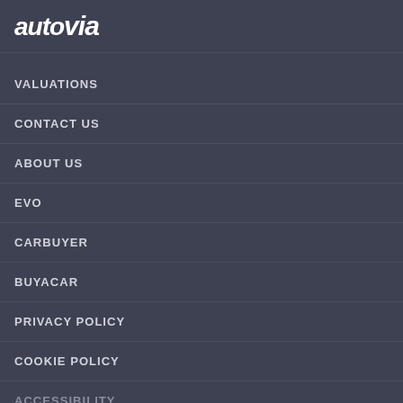[Figure (logo): autovia logo in white italic bold text on dark background]
VALUATIONS
CONTACT US
ABOUT US
EVO
CARBUYER
BUYACAR
PRIVACY POLICY
COOKIE POLICY
ACCESSIBILITY